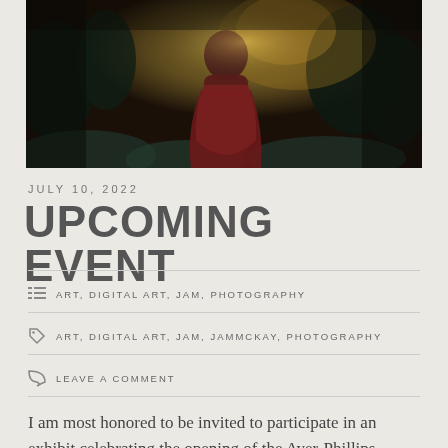[Figure (photo): Dark atmospheric photo of a figure in red in a forest/woodland setting with warm glowing light]
JULY 10, 2022
UPCOMING EVENT
ART, DIGITAL ART, JAM, PHOTOGRAPHY
ART, DIGITAL ART, JAM, JAMMCKAY, PHOTOGRAPHY
LEAVE A COMMENT
I am most honored to be invited to participate in an exhibit celebrating the opening of the Ayer-Phillips